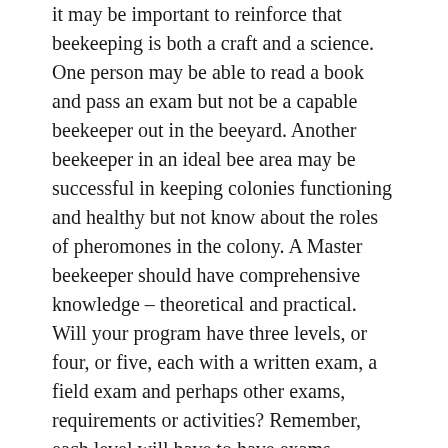it may be important to reinforce that beekeeping is both a craft and a science. One person may be able to read a book and pass an exam but not be a capable beekeeper out in the beeyard. Another beekeeper in an ideal bee area may be successful in keeping colonies functioning and healthy but not know about the roles of pheromones in the colony. A Master beekeeper should have comprehensive knowledge – theoretical and practical. Will your program have three levels, or four, or five, each with a written exam, a field exam and perhaps other exams, requirements or activities? Remember, each level will have to have exams designed and administered, graded and possibly discussed with the beekeeper who may have a complaint. Does your